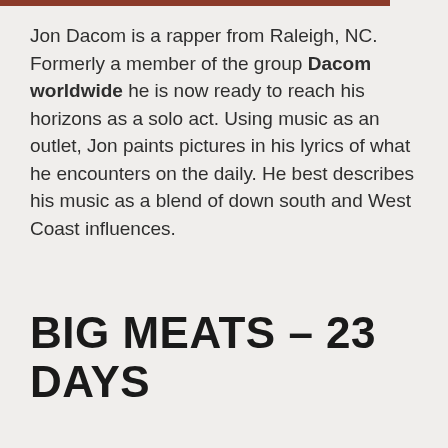Jon Dacom is a rapper from Raleigh, NC. Formerly a member of the group Dacom worldwide he is now ready to reach his horizons as a solo act. Using music as an outlet, Jon paints pictures in his lyrics of what he encounters on the daily. He best describes his music as a blend of down south and West Coast influences.
BIG MEATS – 23 DAYS